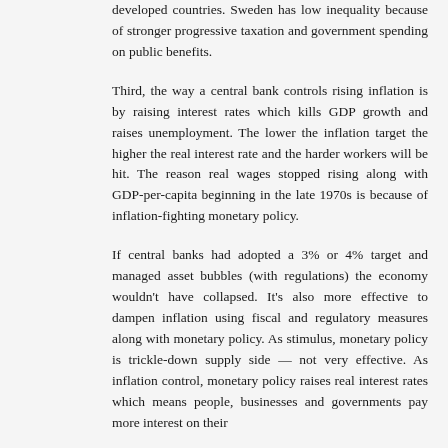developed countries. Sweden has low inequality because of stronger progressive taxation and government spending on public benefits.
Third, the way a central bank controls rising inflation is by raising interest rates which kills GDP growth and raises unemployment. The lower the inflation target the higher the real interest rate and the harder workers will be hit. The reason real wages stopped rising along with GDP-per-capita beginning in the late 1970s is because of inflation-fighting monetary policy.
If central banks had adopted a 3% or 4% target and managed asset bubbles (with regulations) the economy wouldn't have collapsed. It's also more effective to dampen inflation using fiscal and regulatory measures along with monetary policy. As stimulus, monetary policy is trickle-down supply side — not very effective. As inflation control, monetary policy raises real interest rates which means people, businesses and governments pay more interest on their